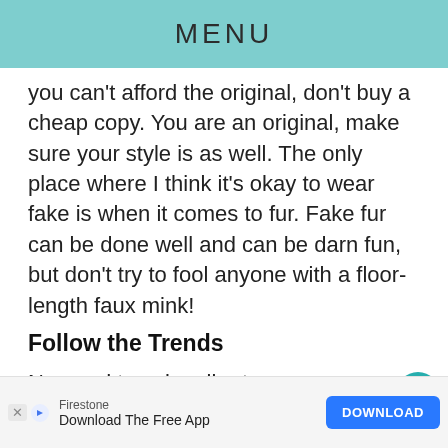MENU
you can't afford the original, don't buy a cheap copy. You are an original, make sure your style is as well. The only place where I think it's okay to wear fake is when it comes to fur. Fake fur can be done well and can be darn fun, but don't try to fool anyone with a floor-length faux mink!
Follow the Trends
No need to subscribe to every magazine under the sun and watch livestream of New York Fashion Week, but be aware of design fashion. Know what the hot designers are fe…
[Figure (other): Advertisement banner: Firestone logo, text 'Download The Free App', blue DOWNLOAD button, X and arrow dismiss controls]